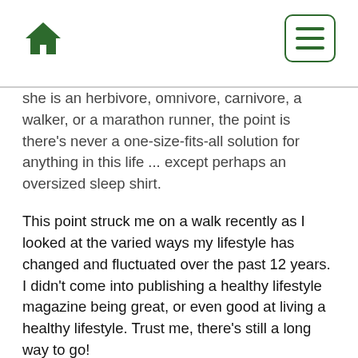[Home icon] [Menu button]
she is an herbivore, omnivore, carnivore, a walker, or a marathon runner, the point is there's never a one-size-fits-all solution for anything in this life ... except perhaps an oversized sleep shirt.
This point struck me on a walk recently as I looked at the varied ways my lifestyle has changed and fluctuated over the past 12 years. I didn't come into publishing a healthy lifestyle magazine being great, or even good at living a healthy lifestyle. Trust me, there's still a long way to go!
I knew that there was the desire to learn more and assist others, who seek solutions, find information and those who may support them on the path.
Reflecting on the materials shared between these